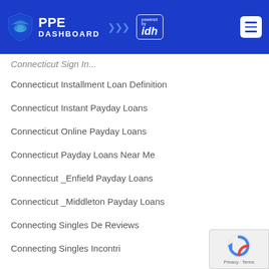PPE DASHBOARD powered by idh
Connecticut Sign In (partial, cut off)
Connecticut Installment Loan Definition
Connecticut Instant Payday Loans
Connecticut Online Payday Loans
Connecticut Payday Loans Near Me
Connecticut _Enfield Payday Loans
Connecticut _Middleton Payday Loans
Connecting Singles De Reviews
Connecting Singles Incontri